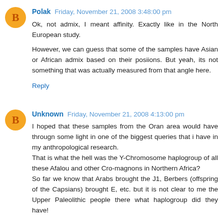Polak  Friday, November 21, 2008 3:48:00 pm
Ok, not admix, I meant affinity. Exactly like in the North European study.
However, we can guess that some of the samples have Asian or African admix based on their posiions. But yeah, its not something that was actually measured from that angle here.
Reply
Unknown  Friday, November 21, 2008 4:13:00 pm
I hoped that these samples from the Oran area would have througn some light in one of the biggest queries that i have in my anthropological research.
That is what the hell was the Y-Chromosome haplogroup of all these Afalou and other Cro-magnons in Northern Africa?
So far we know that Arabs brought the J1, Berbers (offspring of the Capsians) brought E, etc. but it is not clear to me the Upper Paleolithic people there what haplogroup did they have!